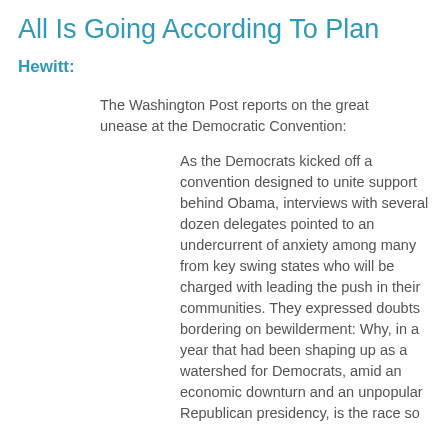All Is Going According To Plan
Hewitt:
The Washington Post reports on the great unease at the Democratic Convention:
As the Democrats kicked off a convention designed to unite support behind Obama, interviews with several dozen delegates pointed to an undercurrent of anxiety among many from key swing states who will be charged with leading the push in their communities. They expressed doubts bordering on bewilderment: Why, in a year that had been shaping up as a watershed for Democrats, amid an economic downturn and an unpopular Republican presidency, is the race so